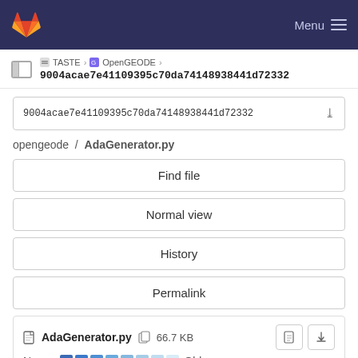GitLab navigation bar with Menu
TASTE › OpenGEODE › 9004acae7e41109395c70da74148938441d72332
9004acae7e41109395c70da74148938441d72332
opengeode / AdaGenerator.py
Find file
Normal view
History
Permalink
AdaGenerator.py  66.7 KB
Newer  Older